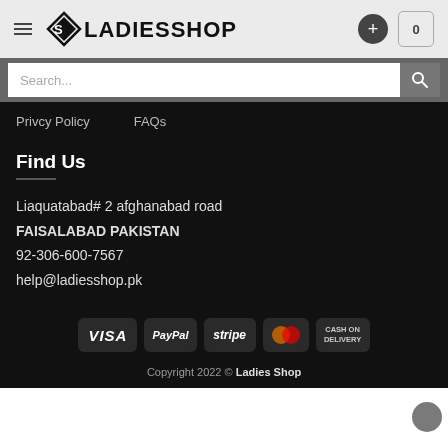LadiesShop header with logo, plus button, and cart
Search...
Privcy Policy   FAQs
Find Us
Liaquatabad# 2 afghanabad road
FAISALABAD PAKISTAN
92-306-600-7567
help@ladiesshop.pk
[Figure (logo): Payment method badges: VISA, PayPal, stripe, MasterCard, CASH ON DELIVERY]
Copyright 2022 © Ladies Shop